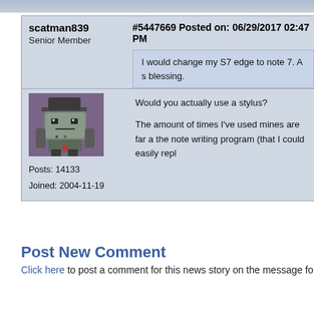scatman839
Senior Member
[Figure (illustration): Pixel art avatar of a robot character wearing a hat, green-gray coloring, on purple background]
Posts: 14133
Joined: 2004-11-19
#5447669 Posted on: 06/29/2017 02:47 PM
I would change my S7 edge to note 7. A s blessing.
Would you actually use a stylus?
The amount of times I've used mines are far a the note writing program (that I could easily repl
Post New Comment
Click here to post a comment for this news story on the message fo